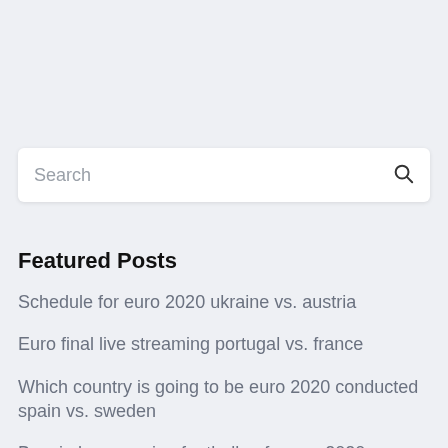[Figure (screenshot): Search bar with placeholder text 'Search' and a magnifying glass icon on the right]
Featured Posts
Schedule for euro 2020 ukraine vs. austria
Euro final live streaming portugal vs. france
Which country is going to be euro 2020 conducted spain vs. sweden
Bosnia herzegovina football uefa euro 2020 portugal